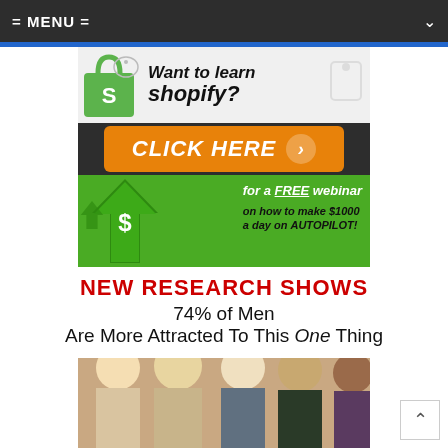= MENU =
[Figure (infographic): Shopify ad banner: 'Want to learn shopify?' with green shopping bag logo, 'CLICK HERE' orange button with arrow, 'for a FREE webinar on how to make $1000 a day on AUTOPILOT!' on green background with dollar sign arrow graphic]
NEW RESEARCH SHOWS
74% of Men
Are More Attracted To This One Thing
[Figure (photo): Group photo of men and women, partially visible at bottom of page]